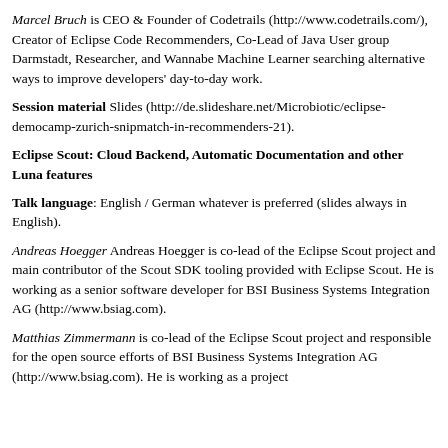Marcel Bruch is CEO & Founder of Codetrails (http://www.codetrails.com/), Creator of Eclipse Code Recommenders, Co-Lead of Java User group Darmstadt, Researcher, and Wannabe Machine Learner searching alternative ways to improve developers' day-to-day work.
Session material Slides (http://de.slideshare.net/Microbiotic/eclipse-democamp-zurich-snipmatch-in-recommenders-21).
Eclipse Scout: Cloud Backend, Automatic Documentation and other Luna features
Talk language: English / German whatever is preferred (slides always in English).
Andreas Hoegger Andreas Hoegger is co-lead of the Eclipse Scout project and main contributor of the Scout SDK tooling provided with Eclipse Scout. He is working as a senior software developer for BSI Business Systems Integration AG (http://www.bsiag.com).
Matthias Zimmermann is co-lead of the Eclipse Scout project and responsible for the open source efforts of BSI Business Systems Integration AG (http://www.bsiag.com). He is working as a project